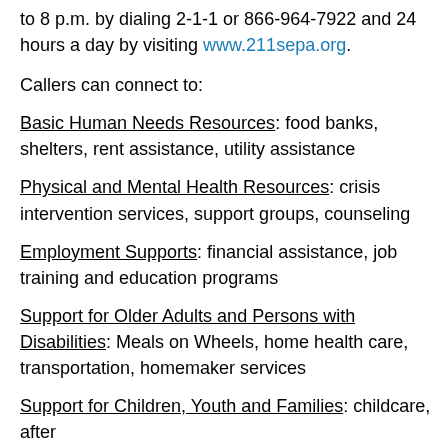to 8 p.m. by dialing 2-1-1 or 866-964-7922 and 24 hours a day by visiting www.211sepa.org.
Callers can connect to:
Basic Human Needs Resources: food banks, shelters, rent assistance, utility assistance
Physical and Mental Health Resources: crisis intervention services, support groups, counseling
Employment Supports: financial assistance, job training and education programs
Support for Older Adults and Persons with Disabilities: Meals on Wheels, home health care, transportation, homemaker services
Support for Children, Youth and Families: childcare, after